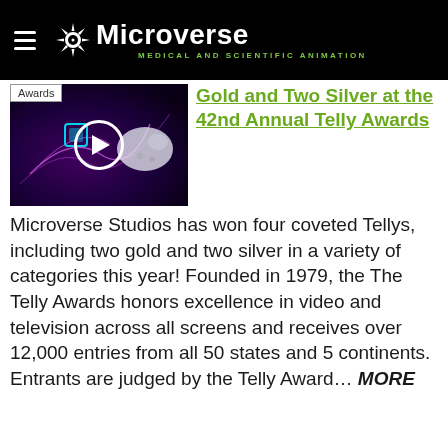Microverse — Medical and Scientific Animation
[Figure (screenshot): Video thumbnail showing medical/scientific animation with purple and cyan glowing neurons/cells on dark background, with a play button overlay and 'Awards' badge in top left corner]
Gold and Two Silver at the 42nd Annual Telly Awards
Microverse Studios has won four coveted Tellys, including two gold and two silver in a variety of categories this year! Founded in 1979, the The Telly Awards honors excellence in video and television across all screens and receives over 12,000 entries from all 50 states and 5 continents. Entrants are judged by the Telly Award… MORE